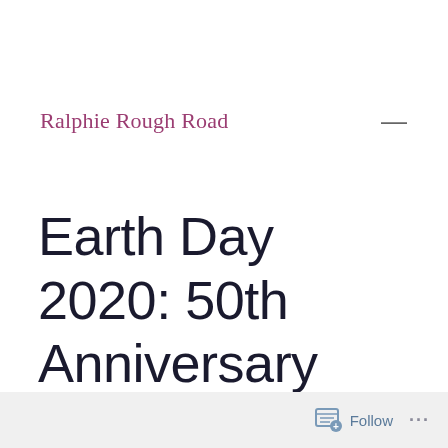Ralphie Rough Road
Earth Day 2020: 50th Anniversary
Follow ...